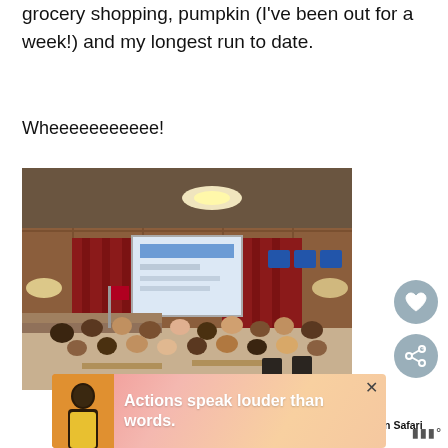grocery shopping, pumpkin (I've been out for a week!) and my longest run to date.
Wheeeeeeeeeee!
[Figure (photo): Indoor conference or event room with people seated at tables, a stage with red curtains, a projection screen showing a presentation, and warm wood-paneled walls with ceiling lights.]
[Figure (other): Heart/like button icon (circular grey button with white heart)]
[Figure (other): Share button icon (circular grey button with share icon)]
WHAT'S NEXT → Kitchen Safari
[Figure (other): Ad banner with person in yellow jacket and text 'Actions speak louder than words.']